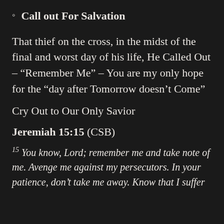Call out For Salvation
That thief on the cross, in the midst of the final and worst day of his life, He Called Out – “Remember Me” – You are my only hope for the “day after Tomorrow doesn’t Come”
Cry Out to Our Only Savior
Jeremiah 15:15 (CSB)
15 You know, Lord; remember me and take note of me. Avenge me against my persecutors. In your patience, don’t take me away. Know that I suffer